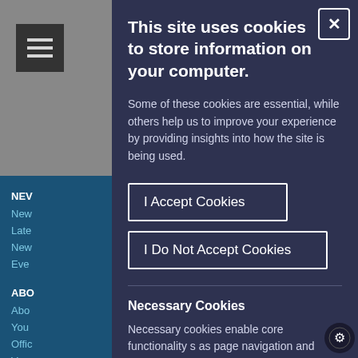This site uses cookies to store information on your computer.
Some of these cookies are essential, while others help us to improve your experience by providing insights into how the site is being used.
I Accept Cookies
I Do Not Accept Cookies
Necessary Cookies
Necessary cookies enable core functionality s as page navigation and access to secure a